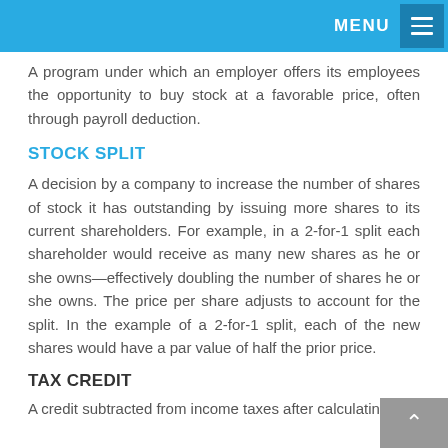MENU
A program under which an employer offers its employees the opportunity to buy stock at a favorable price, often through payroll deduction.
STOCK SPLIT
A decision by a company to increase the number of shares of stock it has outstanding by issuing more shares to its current shareholders. For example, in a 2-for-1 split each shareholder would receive as many new shares as he or she owns—effectively doubling the number of shares he or she owns. The price per share adjusts to account for the split. In the example of a 2-for-1 split, each of the new shares would have a par value of half the prior price.
TAX CREDIT
A credit subtracted from income taxes after calculating...